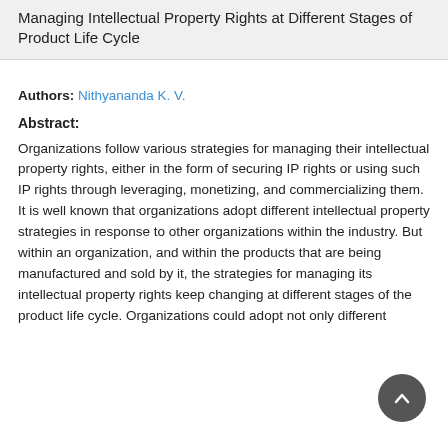Managing Intellectual Property Rights at Different Stages of Product Life Cycle
Authors: Nithyananda K. V.
Abstract:
Organizations follow various strategies for managing their intellectual property rights, either in the form of securing IP rights or using such IP rights through leveraging, monetizing, and commercializing them. It is well known that organizations adopt different intellectual property strategies in response to other organizations within the industry. But within an organization, and within the products that are being manufactured and sold by it, the strategies for managing its intellectual property rights keep changing at different stages of the product life cycle. Organizations could adopt not only different